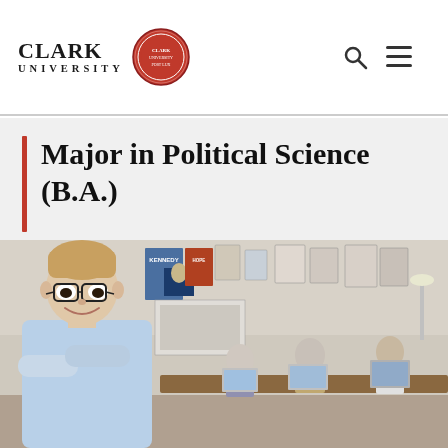Clark University
Major in Political Science (B.A.)
[Figure (photo): A young man with glasses and crossed arms smiling in a room decorated with political campaign posters (Kennedy and others), with students working on laptops at a conference table in the background.]